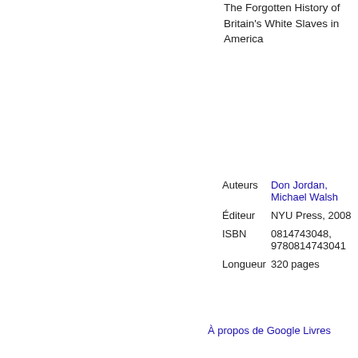The Forgotten History of Britain's White Slaves in America
| Auteurs | Don Jordan, Michael Walsh |
| Éditeur | NYU Press, 2008 |
| ISBN | 0814743048, 9780814743041 |
| Longueur | 320 pages |
Exporter la citation
BiBTeX
EndNote
RefMan
À propos de Google Livres